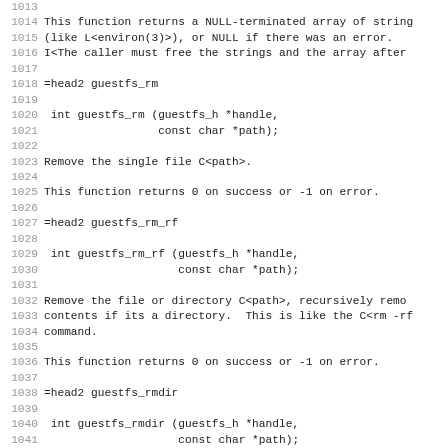1013
1014 This function returns a NULL-terminated array of string
1015 (like L<environ(3)>), or NULL if there was an error.
1016 I<The caller must free the strings and the array after
1017
1018 =head2 guestfs_rm
1019
1020  int guestfs_rm (guestfs_h *handle,
1021                  const char *path);
1022
1023 Remove the single file C<path>.
1024
1025 This function returns 0 on success or -1 on error.
1026
1027 =head2 guestfs_rm_rf
1028
1029  int guestfs_rm_rf (guestfs_h *handle,
1030                     const char *path);
1031
1032 Remove the file or directory C<path>, recursively remo
1033 contents if its a directory.  This is like the C<rm -rf
1034 command.
1035
1036 This function returns 0 on success or -1 on error.
1037
1038 =head2 guestfs_rmdir
1039
1040  int guestfs_rmdir (guestfs_h *handle,
1041                     const char *path);
1042
1043 Remove the single directory C<path>.
1044
1045 This function returns 0 on success or -1 on error.